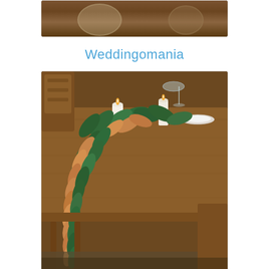[Figure (photo): Partial photo at top showing wooden table or basket with nuts/woven items in warm brown tones]
Weddingomania
[Figure (photo): Wedding table decorated with a lush magnolia leaf garland runner with candles on a rustic wooden dining table, chairs visible in background, warm natural lighting]